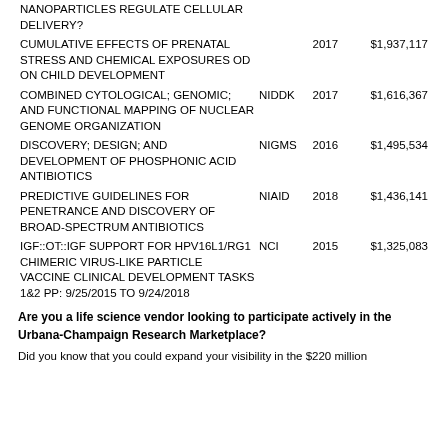| Title | Institute | Year | Amount |
| --- | --- | --- | --- |
| NANOPARTICLES REGULATE CELLULAR DELIVERY? |  |  |  |
| CUMULATIVE EFFECTS OF PRENATAL STRESS AND CHEMICAL EXPOSURES OD ON CHILD DEVELOPMENT | OD | 2017 | $1,937,117 |
| COMBINED CYTOLOGICAL; GENOMIC; AND FUNCTIONAL MAPPING OF NUCLEAR GENOME ORGANIZATION | NIDDK | 2017 | $1,616,367 |
| DISCOVERY; DESIGN; AND DEVELOPMENT OF PHOSPHONIC ACID ANTIBIOTICS | NIGMS | 2016 | $1,495,534 |
| PREDICTIVE GUIDELINES FOR PENETRANCE AND DISCOVERY OF BROAD-SPECTRUM ANTIBIOTICS | NIAID | 2018 | $1,436,141 |
| IGF::OT::IGF SUPPORT FOR HPV16L1/RG1 CHIMERIC VIRUS-LIKE PARTICLE VACCINE CLINICAL DEVELOPMENT TASKS 1&2 PP: 9/25/2015 TO 9/24/2018 | NCI | 2015 | $1,325,083 |
Are you a life science vendor looking to participate actively in the Urbana-Champaign Research Marketplace?
Did you know that you could expand your visibility in the $220 million